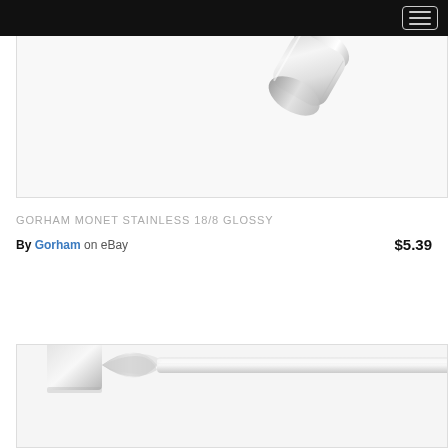[Figure (photo): Close-up photo of a shiny stainless steel flatware handle end, shown at an angle on a white background]
GORHAM MONET STAINLESS 18/8 GLOSSY
By Gorham on eBay $5.39
[Figure (photo): Close-up photo of stainless steel flatware with decorative floral/fan detail at the handle junction, shown on a white background]